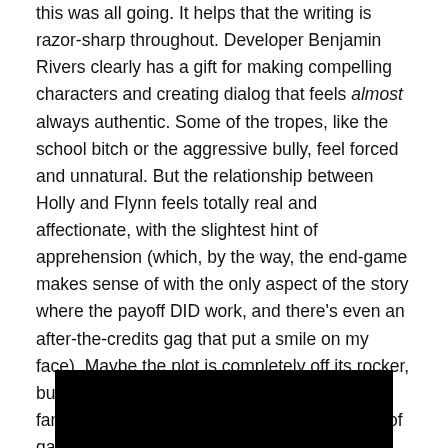this was all going. It helps that the writing is razor-sharp throughout. Developer Benjamin Rivers clearly has a gift for making compelling characters and creating dialog that feels almost always authentic. Some of the tropes, like the school bitch or the aggressive bully, feel forced and unnatural. But the relationship between Holly and Flynn feels totally real and affectionate, with the slightest hint of apprehension (which, by the way, the end-game makes sense of with the only aspect of the story where the payoff DID work, and there's even an after-the-credits gag that put a smile on my face). Maybe the plot is completely off its rocker, but the characters made me and my entire family stick it out for the full three hours or so of gameplay. That was nice.
[Figure (photo): A mostly black rectangular image at the bottom of the page, appearing to be a dark screenshot or photo.]